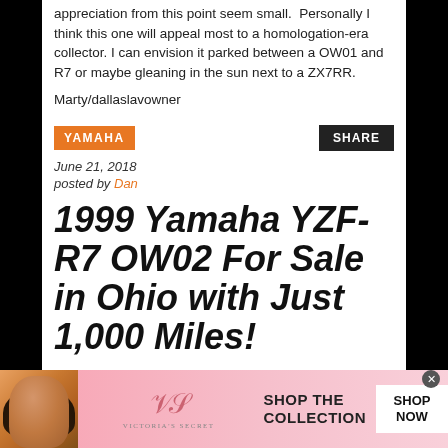appreciation from this point seem small.  Personally I think this one will appeal most to a homologation-era collector. I can envision it parked between a OW01 and R7 or maybe gleaning in the sun next to a ZX7RR.
Marty/dallaslavowner
YAMAHA
SHARE
June 21, 2018
posted by Dan
1999 Yamaha YZF-R7 OW02 For Sale in Ohio with Just 1,000 Miles!
[Figure (photo): Victoria's Secret advertisement banner with model photo, VS logo, 'SHOP THE COLLECTION' text and 'SHOP NOW' button]